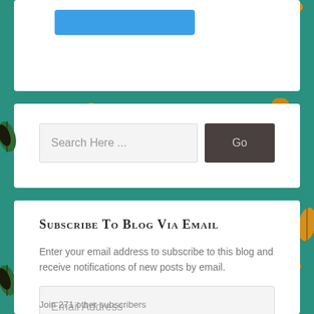[Figure (screenshot): Blue button at top of white card, partially visible]
[Figure (screenshot): Search widget with text input field labeled 'Search Here ...' and a dark 'Go' button]
Subscribe to Blog via Email
Enter your email address to subscribe to this blog and receive notifications of new posts by email.
[Figure (screenshot): Email address input field and Subscribe button]
Join 271 other subscribers